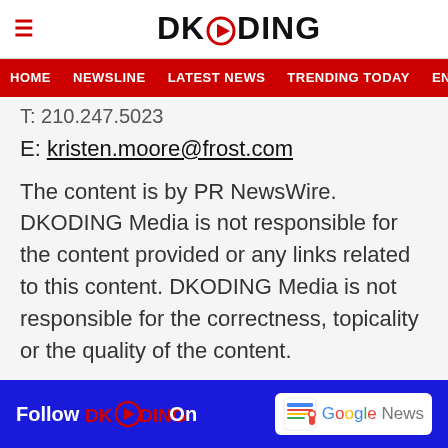DKODING
HOME NEWSLINE LATEST NEWS TRENDING TODAY ENT
T: 210.247.5023
E: kristen.moore@frost.com
The content is by PR NewsWire. DKODING Media is not responsible for the content provided or any links related to this content. DKODING Media is not responsible for the correctness, topicality or the quality of the content.
Follow DKODING On  Google News